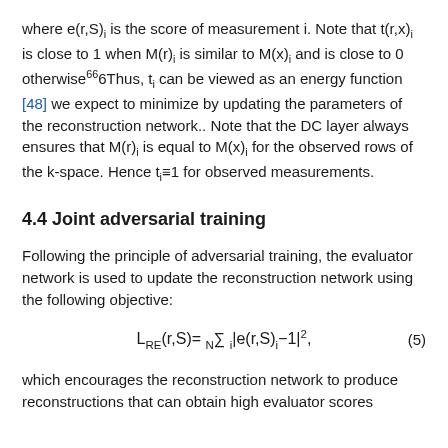where e(r,S)_i is the score of measurement i. Note that t(r,x)_i is close to 1 when M(r)_i is similar to M(x)_i and is close to 0 otherwise^66 6Thus, t_i can be viewed as an energy function [48] we expect to minimize by updating the parameters of the reconstruction network.. Note that the DC layer always ensures that M(r)_i is equal to M(x)_i for the observed rows of the k-space. Hence t_i≡1 for observed measurements.
4.4 Joint adversarial training
Following the principle of adversarial training, the evaluator network is used to update the reconstruction network using the following objective:
which encourages the reconstruction network to produce reconstructions that can obtain high evaluator scores